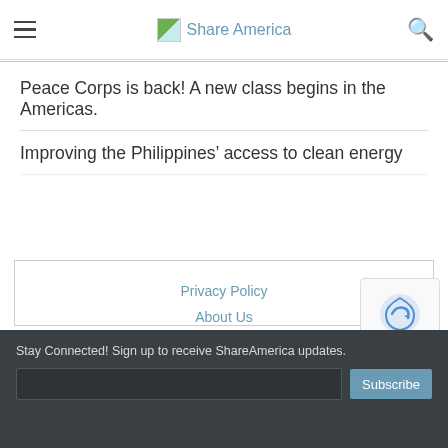Share America
Peace Corps is back! A new class begins in the Americas.
Improving the Philippines' access to clean energy
Privacy Policy
About Us
[Figure (logo): ShareAmerica logo in footer]
This site is managed by the Bureau of Global Public Affairs
Stay Connected! Sign up to receive ShareAmerica updates.